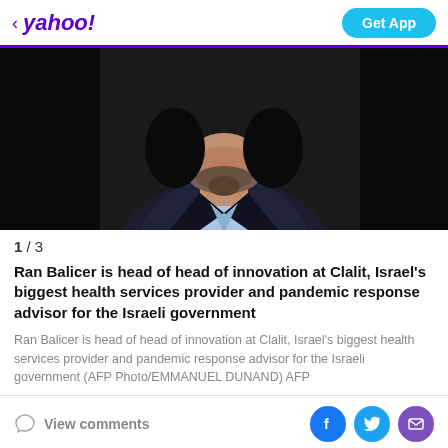yahoo! Get App
[Figure (photo): Close-up photo of a man with a beard wearing a dark suit with light blue shirt, against a black background — Ran Balicer]
1 / 3
Ran Balicer is head of head of innovation at Clalit, Israel's biggest health services provider and pandemic response advisor for the Israeli government
Ran Balicer is head of head of innovation at Clalit, Israel's biggest health services provider and pandemic response advisor for the Israeli government (AFP Photo/EMMANUEL DUNAND) AFP
View comments